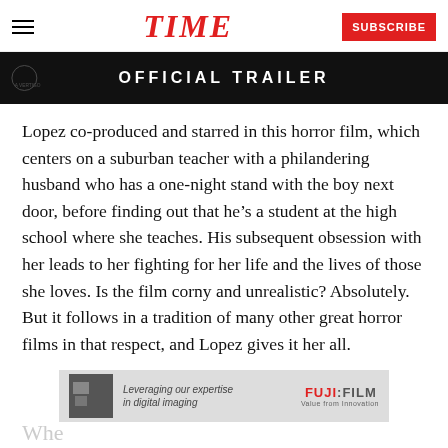TIME  SUBSCRIBE
[Figure (screenshot): Dark video banner showing 'OFFICIAL TRAILER' text in white on black background with a logo on the left]
Lopez co-produced and starred in this horror film, which centers on a suburban teacher with a philandering husband who has a one-night stand with the boy next door, before finding out that he's a student at the high school where she teaches. His subsequent obsession with her leads to her fighting for her life and the lives of those she loves. Is the film corny and unrealistic? Absolutely. But it follows in a tradition of many other great horror films in that respect, and Lopez gives it her all.
[Figure (advertisement): Fujifilm advertisement banner: 'Leveraging our expertise in digital imaging' with Fujifilm logo]
Whe